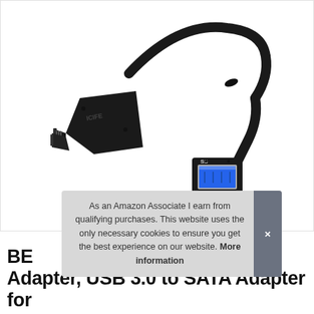[Figure (photo): A USB 3.0 to SATA adapter cable. The left end shows a black SATA connector with the 'ICIFE' branding molded into the housing, and the right end shows a USB 3.0 Type-A plug with a blue insert, connected by a short black cable.]
As an Amazon Associate I earn from qualifying purchases. This website uses the only necessary cookies to ensure you get the best experience on our website. More information
BE Adapter, USB 3.0 to SATA Adapter for